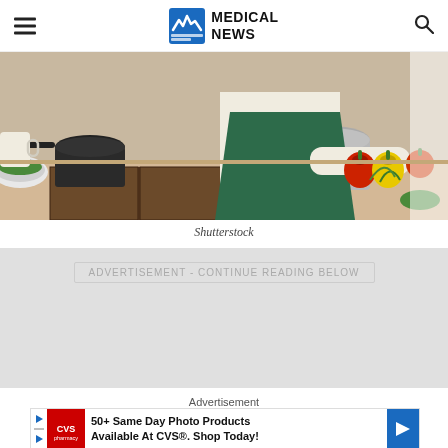MEDICAL NEWS
[Figure (photo): Person in green apron standing at kitchen counter with colorful bell peppers (red and yellow), vegetables, pots and pans in the background]
Shutterstock
ADVERTISEMENT - CONTINUE READING BELOW
Advertisement
[Figure (other): CVS Pharmacy advertisement banner: 50+ Same Day Photo Products Available At CVS®. Shop Today!]